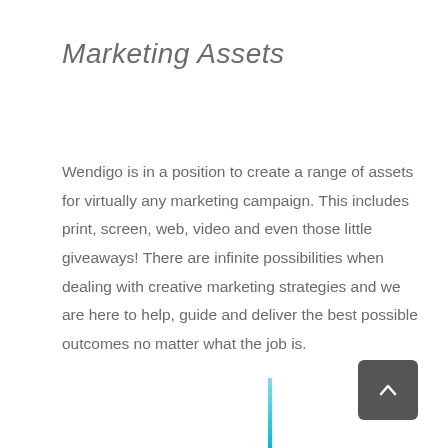Marketing Assets
Wendigo is in a position to create a range of assets for virtually any marketing campaign. This includes print, screen, web, video and even those little giveaways! There are infinite possibilities when dealing with creative marketing strategies and we are here to help, guide and deliver the best possible outcomes no matter what the job is.